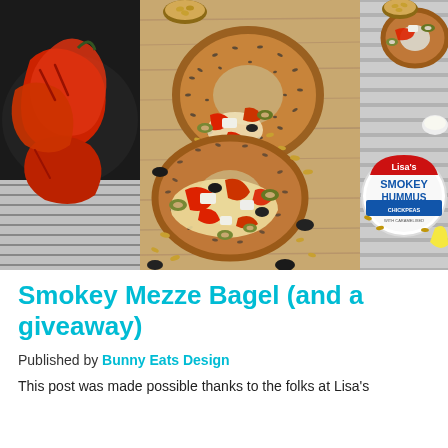[Figure (photo): A collage of three food photos: left shows roasted red peppers on a dark plate; center shows two everything bagels topped with hummus, olives, feta, red peppers, and pine nuts on a wooden board; right shows a container of Lisa's Smokey Hummus with pine nuts on a striped cloth, plus a bagel topped with ingredients in the top right corner.]
Smokey Mezze Bagel (and a giveaway)
Published by Bunny Eats Design
This post was made possible thanks to the folks at Lisa's